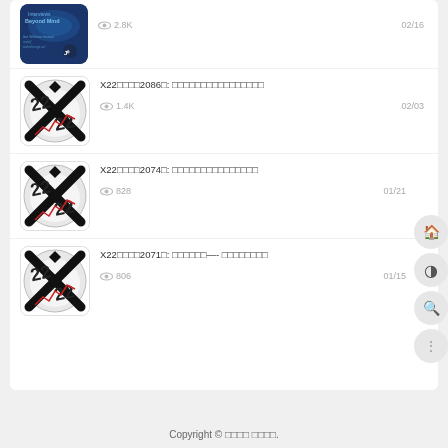[Figure (screenshot): Partially visible thumbnail - space/interview themed image with text 'Interviews Beyond Mind']
2.8K    02/16
[Figure (screenshot): X22 Report logo - circular design with X and 22 numerals, baseball and chart]
X22□□□□2086□: □□□□□□□□□□□□□□□□    1.4K    02/03
[Figure (screenshot): X22 Report logo - circular design with X and 22 numerals, baseball and chart]
X22□□□□2074□: □□□□□□□□□□□□□□□    828    01/21
[Figure (screenshot): X22 Report logo - circular design with X and 22 numerals, baseball and chart]
X22□□□□2071□: □□□□□□—- □□□□□□□□    806    01/15
Copyright ©  □□□□  □□□□.